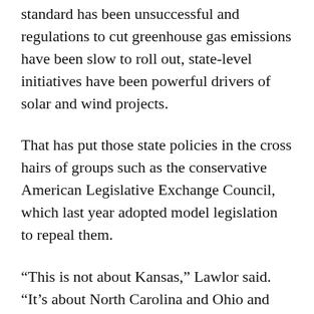standard has been unsuccessful and regulations to cut greenhouse gas emissions have been slow to roll out, state-level initiatives have been powerful drivers of solar and wind projects.
That has put those state policies in the cross hairs of groups such as the conservative American Legislative Exchange Council, which last year adopted model legislation to repeal them.
“This is not about Kansas,” Lawlor said. “It’s about North Carolina and Ohio and Pennsylvania and New Jersey. Kansas is one small front in the larger battleground.”